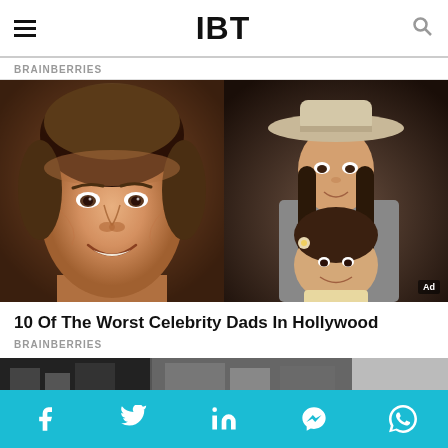IBT
BRAINBERRIES
[Figure (photo): Two celebrity photos side by side: left shows a close-up of a man smiling (Tom Cruise), right shows a woman wearing a wide-brimmed hat with a young girl (Katie Holmes and daughter Suri)]
10 Of The Worst Celebrity Dads In Hollywood
BRAINBERRIES
[Figure (photo): Partial view of another article image showing a city street scene]
Social share buttons: Facebook, Twitter, LinkedIn, Messenger, WhatsApp